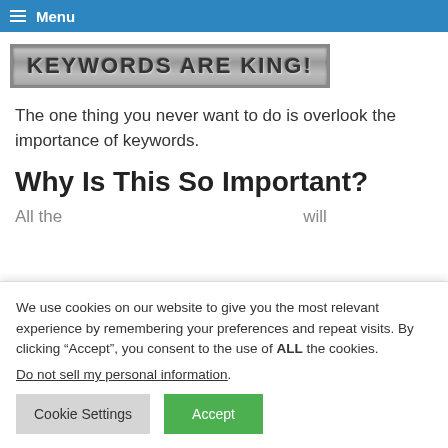Menu
[Figure (logo): Keywords Are King! logo with metallic/steel styled text in a bordered box]
The one thing you never want to do is overlook the importance of keywords.
Why Is This So Important?
All the...
We use cookies on our website to give you the most relevant experience by remembering your preferences and repeat visits. By clicking “Accept”, you consent to the use of ALL the cookies.
Do not sell my personal information.